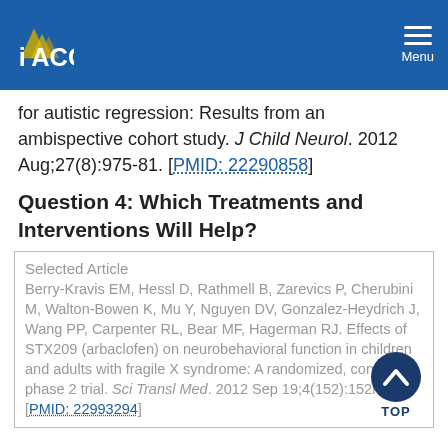IACC
for autistic regression: Results from an ambispective cohort study. J Child Neurol. 2012 Aug;27(8):975-81. [PMID: 22290858]
Question 4: Which Treatments and Interventions Will Help?
Selected Article
Berry-Kravis EM, Hessl D, Rathmell B, Zarevics P, Cherubini M, Walton-Bowen K, Mu Y, Nguyen DV, Gonzalez-Heydrich J, Wang PP, Carpenter RL, Bear MF, Hagerman RJ. Effects of STX209 (arbaclofen) on neurobehavioral function in children and adults with fragile X syndrome: A randomized, controlled, phase 2 trial. Sci Transl Med. 2012 Sep 19;4(152):152ra127. [PMID: 22993294]